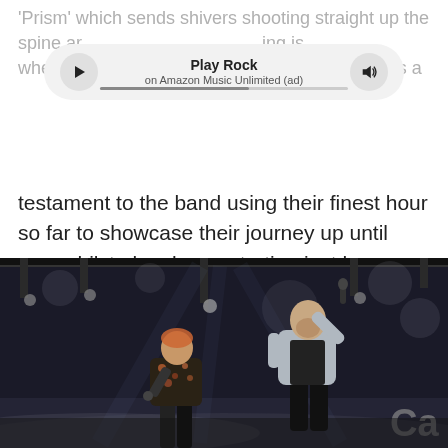'Prism' which sends shivers shooting straight up the spine and you can be honest that an amazing thing is when you pull away all the bells and whistles. It's a
[Figure (other): Amazon Music Play Rock player bar with play button, progress bar, and volume button. Text reads 'Play Rock' and 'on Amazon Music Unlimited (ad)']
testament to the band using their finest hour so far to showcase their journey up until now whilst also demonstrating just how many leaps and bounds they have come in the last couple of years.
[Figure (photo): Concert photo of two male performers on stage. One in a silver/grey bomber jacket holding a microphone up, the other in a floral shirt with reddish hair. Stage lighting and rigging visible in the background with smoke effects.]